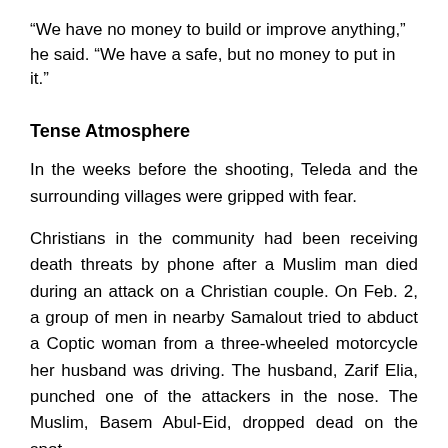“We have no money to build or improve anything,” he said. “We have a safe, but no money to put in it.”
Tense Atmosphere
In the weeks before the shooting, Teleda and the surrounding villages were gripped with fear.
Christians in the community had been receiving death threats by phone after a Muslim man died during an attack on a Christian couple. On Feb. 2, a group of men in nearby Samalout tried to abduct a Coptic woman from a three-wheeled motorcycle her husband was driving. The husband, Zarif Elia, punched one of the attackers in the nose. The Muslim, Basem Abul-Eid, dropped dead on the spot.